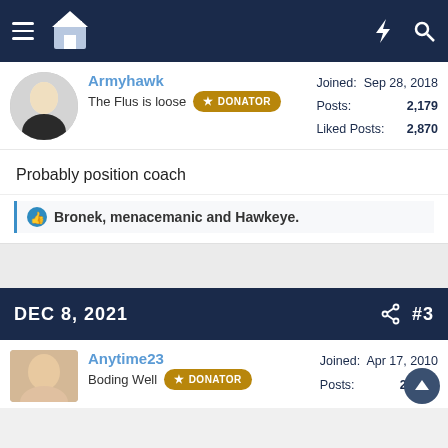Navigation bar with logo, hamburger menu, lightning and search icons
Armyhawk
The Flus is loose | DONATOR
Joined: Sep 28, 2018
Posts: 2,179
Liked Posts: 2,870
Probably position coach
👍 Bronek, menacemanic and Hawkeye.
DEC 8, 2021 #3
Anytime23
Boding Well | DONATOR
Joined: Apr 17, 2010
Posts: 27,599